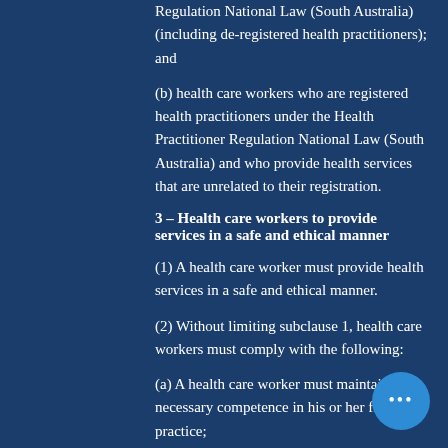Regulation National Law (South Australia) (including de-registered health practitioners); and
(b) health care workers who are registered health practitioners under the Health Practitioner Regulation National Law (South Australia) and who provide health services that are unrelated to their registration.
3 – Health care workers to provide services in a safe and ethical manner
(1) A health care worker must provide health services in a safe and ethical manner.
(2) Without limiting subclause 1, health care workers must comply with the following:
(a) A health care worker must maintain the necessary competence in his or her field of practice;